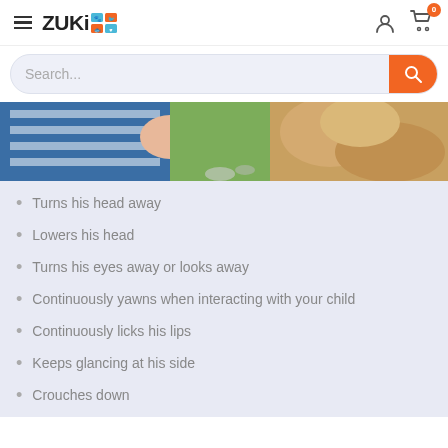ZUKi [logo icons] — navigation with hamburger menu, user icon, and cart (0)
[Figure (screenshot): Search bar with orange search button and ZUKi branding]
[Figure (photo): Partial photo showing a child in a blue striped shirt and a golden dog outdoors]
Turns his head away
Lowers his head
Turns his eyes away or looks away
Continuously yawns when interacting with your child
Continuously licks his lips
Keeps glancing at his side
Crouches down